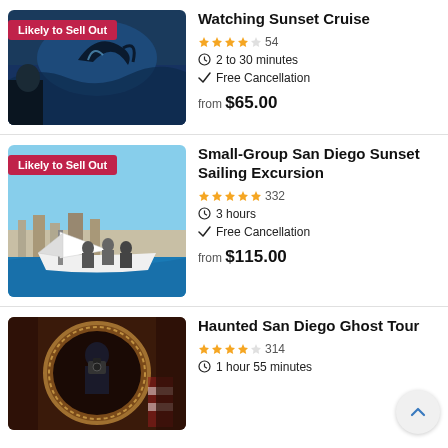[Figure (photo): Photo of a whale/dolphin jumping near a boat, with a person watching. Badge: Likely to Sell Out]
Watching Sunset Cruise
★★★★☆ 54
⏱ 2 to 30 minutes
✓ Free Cancellation
from $65.00
[Figure (photo): Photo of a sailboat with people on deck, city in background. Badge: Likely to Sell Out]
Small-Group San Diego Sunset Sailing Excursion
★★★★★ 332
⏱ 3 hours
✓ Free Cancellation
from $115.00
[Figure (photo): Photo of a person in dark clothing taking photos in an ornate mirror, ghost tour setting]
Haunted San Diego Ghost Tour
★★★★☆ 314
⏱ 1 hour 55 minutes